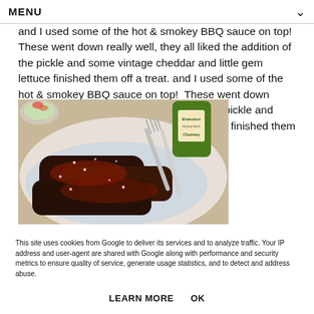MENU
and I used some of the hot & smokey BBQ sauce on top!  These went down really well, they all liked the addition of the pickle and some vintage cheddar and little gem lettuce finished them off a treat.
[Figure (photo): BBQ ribs on a white plate with a fork and knife, Branston Chutney bottle visible in background]
This site uses cookies from Google to deliver its services and to analyze traffic. Your IP address and user-agent are shared with Google along with performance and security metrics to ensure quality of service, generate usage statistics, and to detect and address abuse.
LEARN MORE    OK